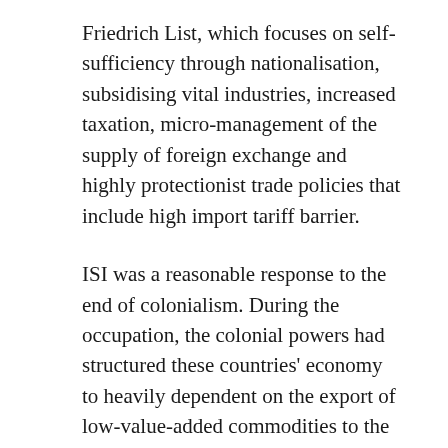Friedrich List, which focuses on self-sufficiency through nationalisation, subsidising vital industries, increased taxation, micro-management of the supply of foreign exchange and highly protectionist trade policies that include high import tariff barrier.
ISI was a reasonable response to the end of colonialism. During the occupation, the colonial powers had structured these countries' economy to heavily dependent on the export of low-value-added commodities to the ruling power, while in return they were forced to import a huge flow of finished manufactured goods back from the ruler at a higher price. In addition, tariff barriers were set very low, thus killing any chance for local industries to thrive, thus as a result these countries were forever stuck with exporting raw materials in order to pay for their expensive